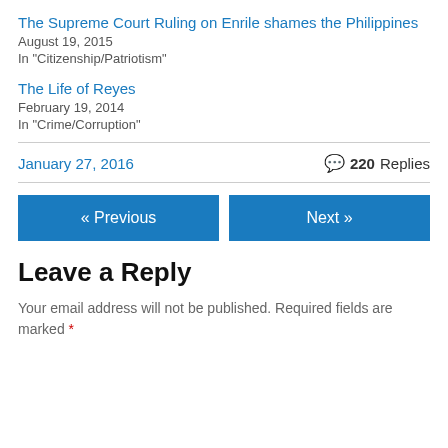The Supreme Court Ruling on Enrile shames the Philippines
August 19, 2015
In "Citizenship/Patriotism"
The Life of Reyes
February 19, 2014
In "Crime/Corruption"
January 27, 2016
220 Replies
« Previous
Next »
Leave a Reply
Your email address will not be published. Required fields are marked *